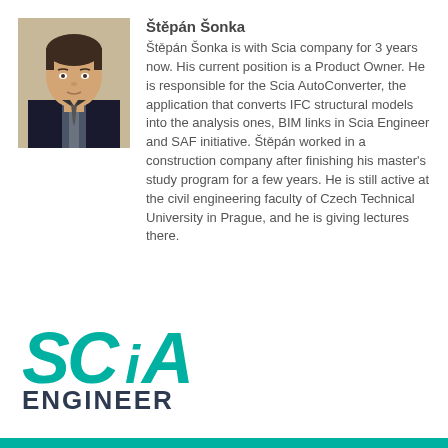[Figure (photo): Headshot of Štěpán Šonka, a young man in a dark suit and tie, against a beige background.]
Štěpán Šonka
Štěpán Šonka is with Scia company for 3 years now. His current position is a Product Owner. He is responsible for the Scia AutoConverter, the application that converts IFC structural models into the analysis ones, BIM links in Scia Engineer and SAF initiative. Štěpán worked in a construction company after finishing his master's study program for a few years. He is still active at the civil engineering faculty of Czech Technical University in Prague, and he is giving lectures there.
[Figure (logo): Scia Engineer logo in teal and dark navy colors.]